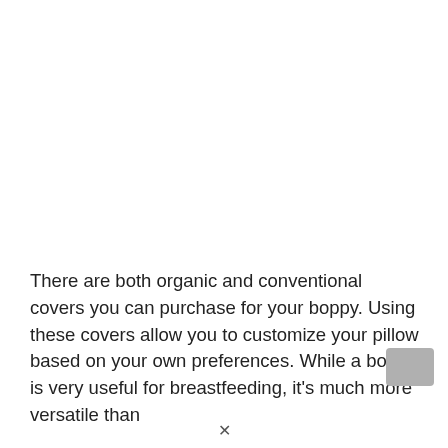There are both organic and conventional covers you can purchase for your boppy. Using these covers allow you to customize your pillow based on your own preferences. While a boppy is very useful for breastfeeding, it's much more versatile than